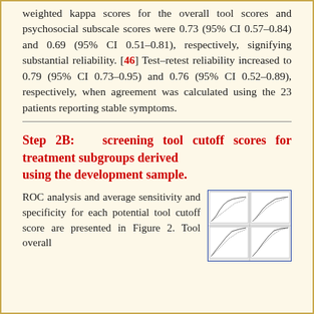weighted kappa scores for the overall tool scores and psychosocial subscale scores were 0.73 (95% CI 0.57–0.84) and 0.69 (95% CI 0.51–0.81), respectively, signifying substantial reliability. [46] Test–retest reliability increased to 0.79 (95% CI 0.73–0.95) and 0.76 (95% CI 0.52–0.89), respectively, when agreement was calculated using the 23 patients reporting stable symptoms.
Step 2B: screening tool cutoff scores for treatment subgroups derived using the development sample.
ROC analysis and average sensitivity and specificity for each potential tool cutoff score are presented in Figure 2. Tool overall
[Figure (other): Small thumbnail image showing ROC curve analysis charts in a 2x2 grid layout with blue border]